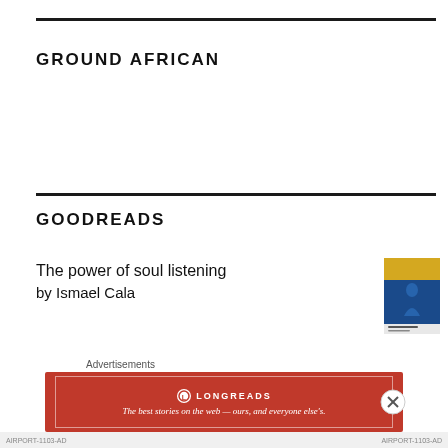GROUND AFRICAN
GOODREADS
The power of soul listening
by Ismael Cala
[Figure (illustration): Book cover for 'The power of soul listening' by Ismael Cala - yellow and blue cover with figure silhouette]
The Magic of Thinking Big
[Figure (illustration): Book cover for 'The Magic of Thinking Big' - red and white cover]
Advertisements
[Figure (other): Longreads advertisement banner: 'The best stories on the web — ours, and everyone else's.']